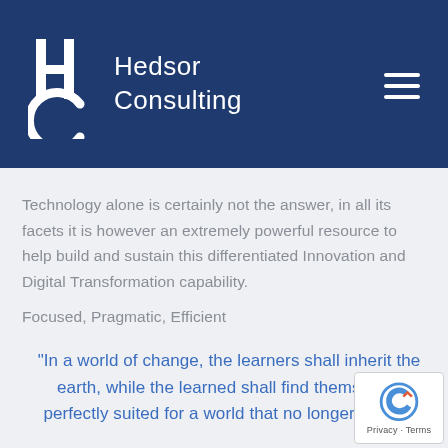Hedsor Consulting
Technology alone is certainly not the answer, in all its facets it is however an extremely powerful resource to help build and sustain this differentiated Innovation and Digital Transformation capability.
Focused, Pragmatic, Efficient
"In a world of change, the learners shall inherit the earth, while the learned shall find themselves perfectly suited for a world that no longer exists."
Eric Hoffer